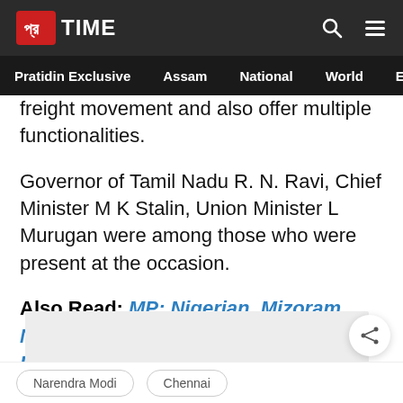Pratidin Time — navigation: Pratidin Exclusive, Assam, National, World, Edu
freight movement and also offer multiple functionalities.
Governor of Tamil Nadu R. N. Ravi, Chief Minister M K Stalin, Union Minister L Murugan were among those who were present at the occasion.
Also Read: MP: Nigerian, Mizoram Nationals Held With Narcotics Worth Rs 100 Crore
[Figure (other): Advertisement placeholder — gray rectangle]
Narendra Modi
Chennai